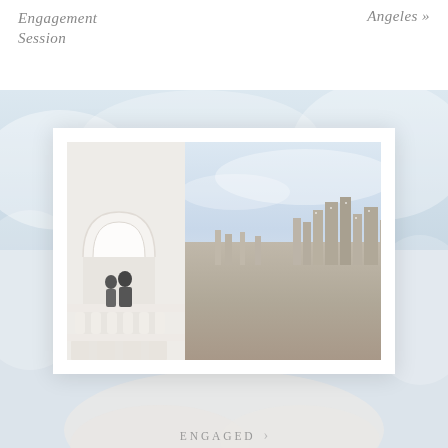Engagement Session
Angeles »
[Figure (photo): Diptych photo in white card frame: left panel shows a couple standing close together on a white architectural balcony with arched columns; right panel shows a wide aerial view of the Los Angeles cityscape with sky and downtown skyscrapers]
ENGAGED →